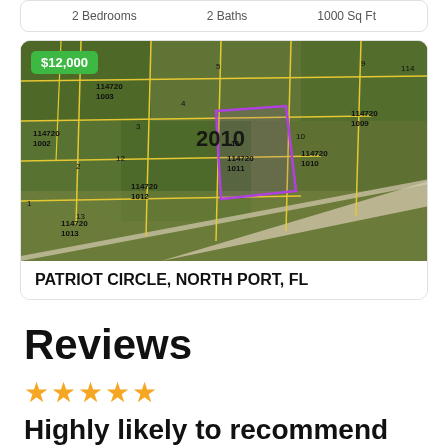2 Bedrooms   2 Baths   1000 Sq Ft
[Figure (map): Aerial/satellite parcel map showing lot 114720 1011 at Patriot Circle, North Port, FL with purple boundary outline and surrounding parcels numbered 1002-1013, with a $12,000 price badge overlay]
PATRIOT CIRCLE, NORTH PORT, FL
Reviews
★★★★★ Highly likely to recommend